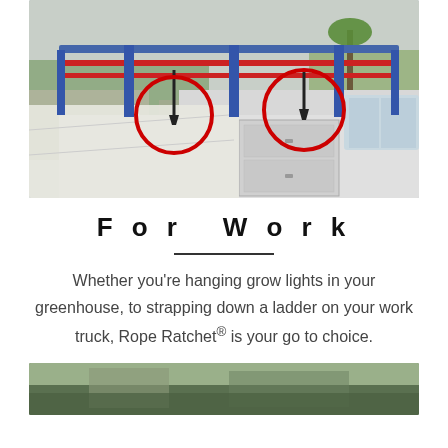[Figure (photo): Photograph of a white work truck with a ladder rack on top. Two red circles highlight hooks/straps securing ladders to the rack. Industrial background with vehicles and trees visible.]
For Work
Whether you're hanging grow lights in your greenhouse, to strapping down a ladder on your work truck, Rope Ratchet® is your go to choice.
[Figure (photo): Partial view of another outdoor scene, bottom of page, cropped.]